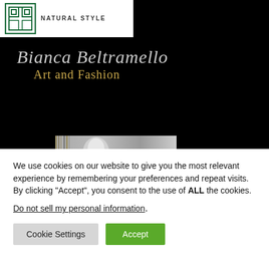[Figure (logo): Green square geometric logo with text 'NATURAL STYLE' in dark grey on white background]
[Figure (illustration): Black background banner with cursive text 'Bianca Beltramello' in grey and 'Art and Fashion' in gold, with black-and-white fashion photo of a woman]
We use cookies on our website to give you the most relevant experience by remembering your preferences and repeat visits. By clicking “Accept”, you consent to the use of ALL the cookies.
Do not sell my personal information.
Cookie Settings
Accept